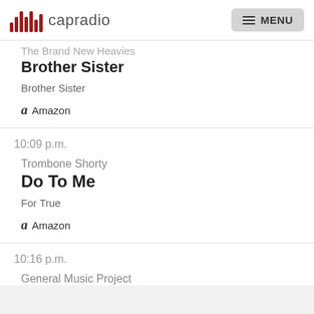capradio MENU
The Brand New Heavies
Brother Sister
Brother Sister
Amazon
10:09 p.m.
Trombone Shorty
Do To Me
For True
Amazon
10:16 p.m.
General Music Project